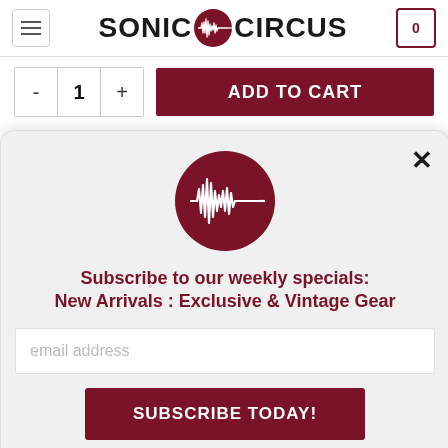[Figure (logo): Sonic Circus logo with hamburger menu icon on left, SONIC CIRCUS text with dark red circle waveform icon in center, cart icon with 0 on right]
- 1 +
ADD TO CART
Questions? Ask us! ✉ or Call 888-SC4-GEAR
[Figure (logo): Sonic Circus dark red circle logo with waveform]
Subscribe to our weekly specials:
New Arrivals : Exclusive & Vintage Gear
email address
SUBSCRIBE TODAY!